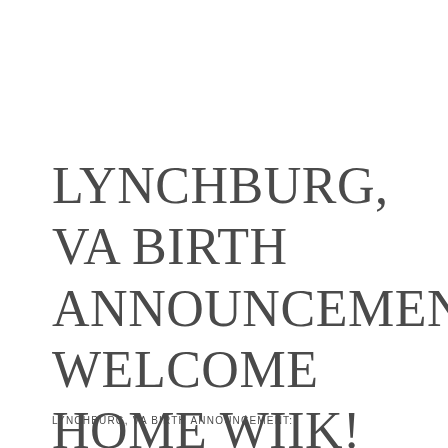LYNCHBURG, VA BIRTH ANNOUNCEMENT: WELCOME HOME WIIK!
LYNCHBURG, VA BIRTH ANNOUNCEMENT: